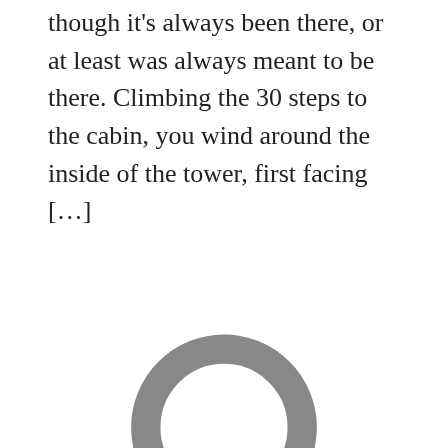though it's always been there, or at least was always meant to be there. Climbing the 30 steps to the cabin, you wind around the inside of the tower, first facing […]
Scott   January 10, 2011
aesthetics, Archive of Old Trees, House of Tree
aesthetics, architecture, deep craft, saint tikhon, scott Constable, treehouse
1 Comment